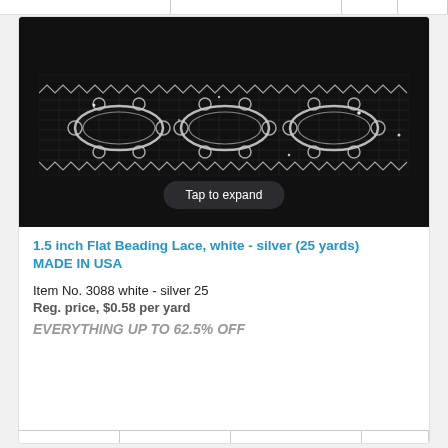[Figure (photo): White and silver lace fabric on black background showing a repeating oval/scallop pattern with beading detail. A 'Tap to expand' button overlay is visible at the bottom center.]
1.5 inch Flat Beading Lace, white - silver (25 yards) MADE IN USA
Item No. 3088 white - silver 25
Reg. price, $0.58 per yard
EVERYTHING UP TO 62.5% OFF